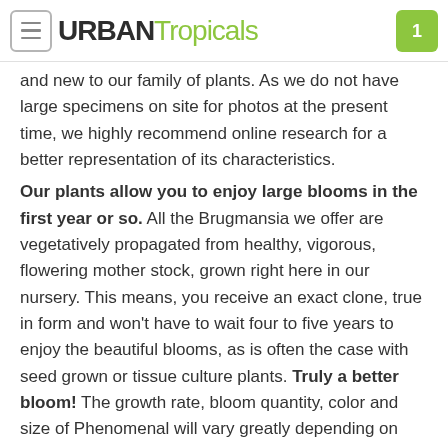URBAN Tropicals
and new to our family of plants. As we do not have large specimens on site for photos at the present time, we highly recommend online research for a better representation of its characteristics.
Our plants allow you to enjoy large blooms in the first year or so. All the Brugmansia we offer are vegetatively propagated from healthy, vigorous, flowering mother stock, grown right here in our nursery. This means, you receive an exact clone, true in form and won't have to wait four to five years to enjoy the beautiful blooms, as is often the case with seed grown or tissue culture plants. Truly a better bloom! The growth rate, bloom quantity, color and size of Phenomenal will vary greatly depending on soil type, sunlight, temperature and other factors. A few leaves are often trimmed prior to shipping to reduce transpiration and travel stress.